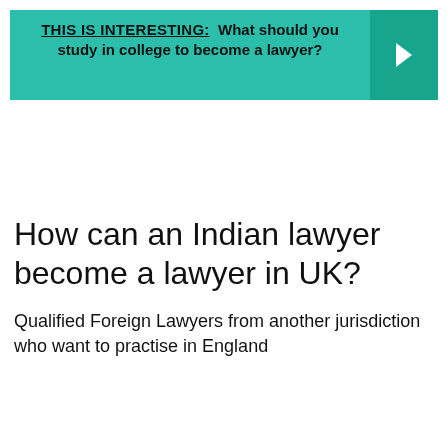[Figure (infographic): Teal/green banner with bold text reading 'THIS IS INTERESTING: What should you study in college to become a lawyer?' and a right-arrow chevron button on the right side.]
How can an Indian lawyer become a lawyer in UK?
Qualified Foreign Lawyers from another jurisdiction who want to practise in England